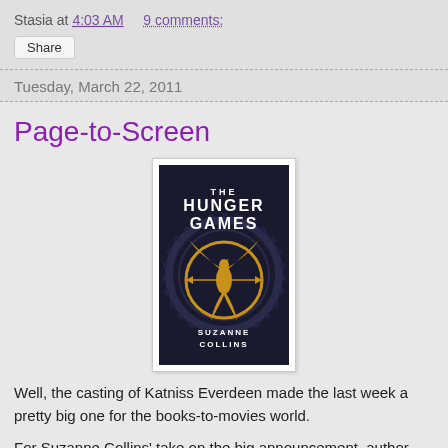Stasia at 4:03 AM    9 comments:
Share
Tuesday, March 22, 2011
Page-to-Screen
[Figure (illustration): Book cover of The Hunger Games by Suzanne Collins — black background with a golden mockingjay bird inside a circle, title text 'THE HUNGER GAMES' in white, author name 'SUZANNE COLLINS' in white at the bottom]
Well, the casting of Katniss Everdeen made the last week a pretty big one for the books-to-movies world.
For Suzanne Collins' take on the big announcement, author Lisa McMann's thoughts on Miley Cyrus's attachment to the Wake movie, and more, hop on over to A Year of Auditions!